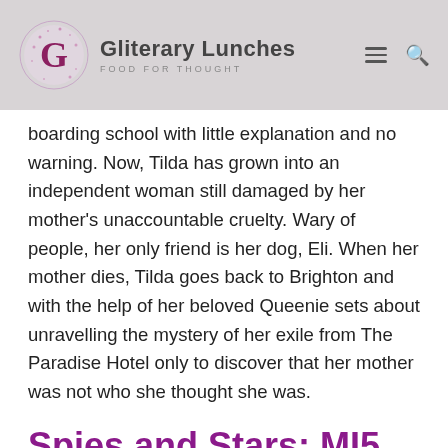Gliterary Lunches – FOOD FOR THOUGHT
boarding school with little explanation and no warning. Now, Tilda has grown into an independent woman still damaged by her mother's unaccountable cruelty. Wary of people, her only friend is her dog, Eli. When her mother dies, Tilda goes back to Brighton and with the help of her beloved Queenie sets about unravelling the mystery of her exile from The Paradise Hotel only to discover that her mother was not who she thought she was.
Spies and Stars: MI5, Showbusiness & Me by Charlotte Bingham